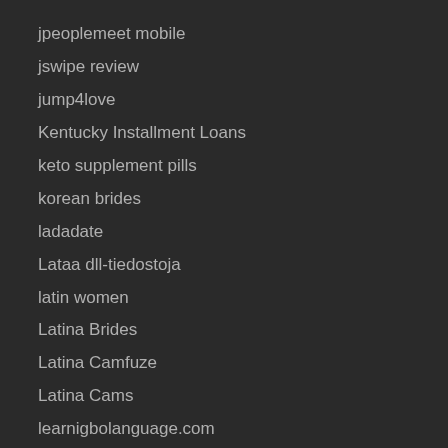jpeoplemeet mobile
jswipe review
jump4love
Kentucky Installment Loans
keto supplement pills
korean brides
ladadate
Lataa dll-tiedostoja
latin women
Latina Brides
Latina Camfuze
Latina Cams
learnigbolanguage.com
Legit Installment Loans In Indiana
Livejasminmobile
Loan Services Near Me
Loan Shops and more...